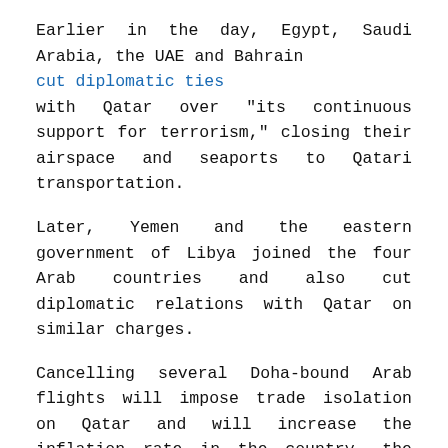Earlier in the day, Egypt, Saudi Arabia, the UAE and Bahrain cut diplomatic ties with Qatar over "its continuous support for terrorism," closing their airspace and seaports to Qatari transportation.
Later, Yemen and the eastern government of Libya joined the four Arab countries and also cut diplomatic relations with Qatar on similar charges.
Cancelling several Doha-bound Arab flights will impose trade isolation on Qatar and will increase the inflation rate in the country, the sources said.